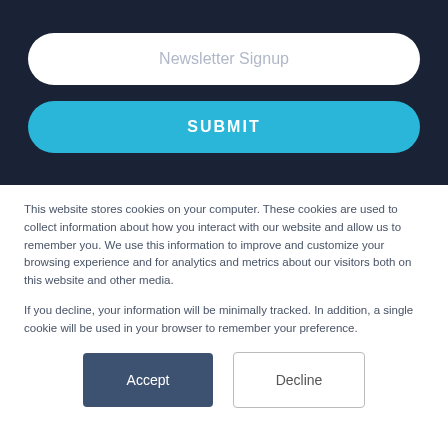[Figure (screenshot): Newsletter signup input field with placeholder text 'Newsletter Signup' on dark navy background]
[Figure (screenshot): Blue rounded SUBMIT button on dark navy background]
This website stores cookies on your computer. These cookies are used to collect information about how you interact with our website and allow us to remember you. We use this information to improve and customize your browsing experience and for analytics and metrics about our visitors both on this website and other media.
If you decline, your information will be minimally tracked. In addition, a single cookie will be used in your browser to remember your preference.
[Figure (screenshot): Accept button (dark blue) and Decline button (white with border) side by side]